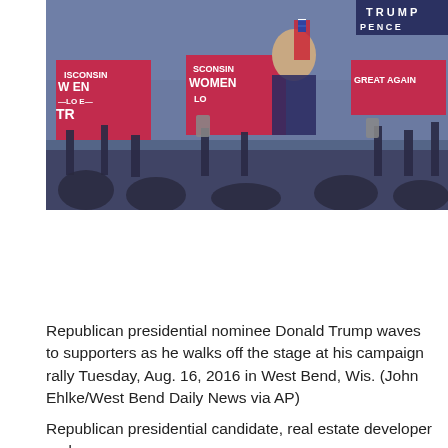[Figure (photo): A campaign rally scene showing Donald Trump on stage waving, with supporters in the crowd holding signs that read 'Wisconsin Women Love Trump' and 'Make America Great Again'. The image has a blue/purple tinted tone.]
Republican presidential nominee Donald Trump waves to supporters as he walks off the stage at his campaign rally Tuesday, Aug. 16, 2016 in West Bend, Wis. (John Ehlke/West Bend Daily News via AP)
Republican presidential candidate, real estate developer and